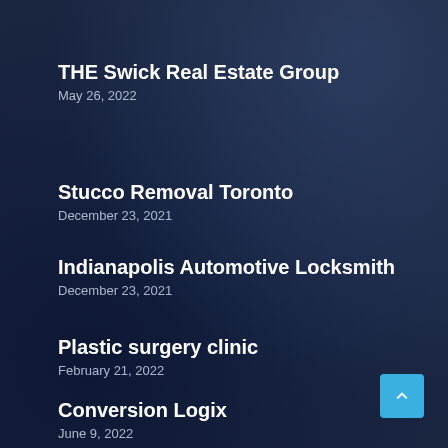THE Swick Real Estate Group
May 26, 2022
Stucco Removal Toronto
December 23, 2021
Indianapolis Automotive Locksmith
December 23, 2021
Plastic surgery clinic
February 21, 2022
Conversion Logix
June 9, 2022